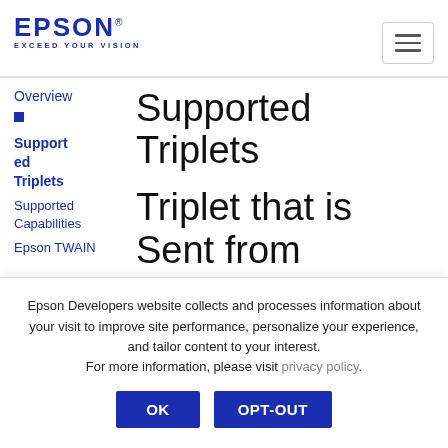[Figure (logo): Epson logo with text EPSON and tagline EXCEED YOUR VISION in blue]
Overview
Supported Triplets (nav active)
Supported Capabilities
Epson TWAIN
Supported Triplets
Triplet that is Sent from Application to Data
Epson Developers website collects and processes information about your visit to improve site performance, personalize your experience, and tailor content to your interest. For more information, please visit privacy policy.